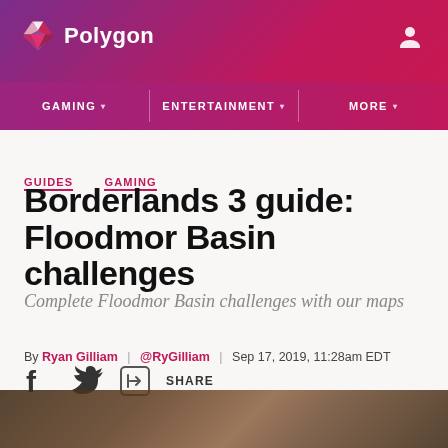Polygon | GAMING | ENTERTAINMENT | MORE
GUIDES   GAMING
Borderlands 3 guide: Floodmor Basin challenges
Complete Floodmor Basin challenges with our maps
By Ryan Gilliam | @RyGilliam | Sep 17, 2019, 11:28am EDT
[Figure (other): Social share icons: Facebook, Twitter, and a share button with text SHARE]
[Figure (photo): Dark-toned image strip at bottom showing what appears to be a game environment from Borderlands 3]